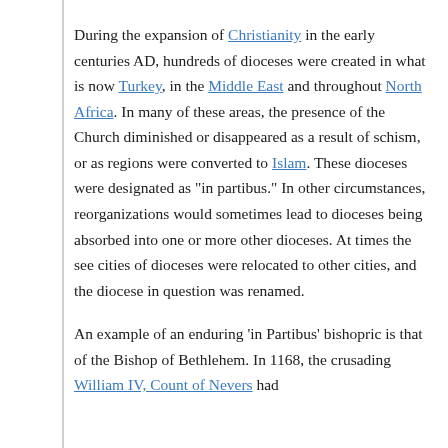During the expansion of Christianity in the early centuries AD, hundreds of dioceses were created in what is now Turkey, in the Middle East and throughout North Africa. In many of these areas, the presence of the Church diminished or disappeared as a result of schism, or as regions were converted to Islam. These dioceses were designated as "in partibus." In other circumstances, reorganizations would sometimes lead to dioceses being absorbed into one or more other dioceses. At times the see cities of dioceses were relocated to other cities, and the diocese in question was renamed.
An example of an enduring 'in Partibus' bishopric is that of the Bishop of Bethlehem. In 1168, the crusading William IV, Count of Nevers had